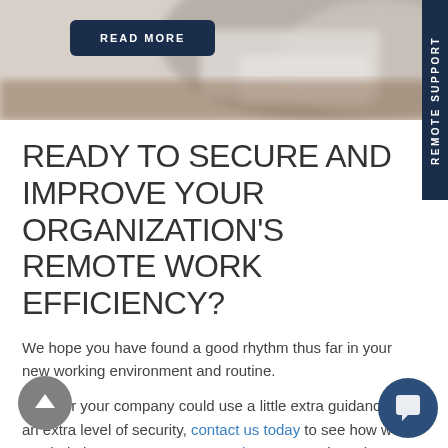[Figure (photo): Top portion of a webpage screenshot showing a blurred photo of a desk/workspace in the upper right, and a 'READ MORE' button in dark navy with white bold text on the left.]
READY TO SECURE AND IMPROVE YOUR ORGANIZATION'S REMOTE WORK EFFICIENCY?
We hope you have found a good rhythm thus far in your new working environment and routine.
If you or your company could use a little extra guidance or an extra level of security, contact us today to see how we can help keep your systems running as smooth as the services that your business offers.